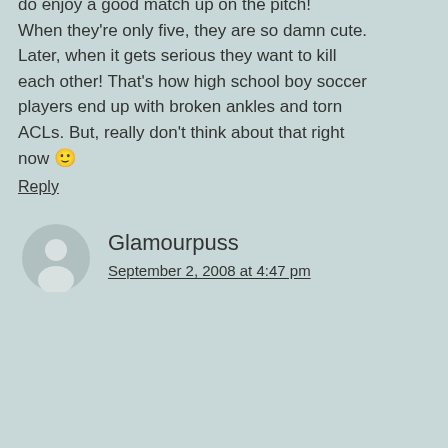do enjoy a good match up on the pitch! When they're only five, they are so damn cute. Later, when it gets serious they want to kill each other! That's how high school boy soccer players end up with broken ankles and torn ACLs. But, really don't think about that right now 🙂
Reply
Glamourpuss
September 2, 2008 at 4:47 pm